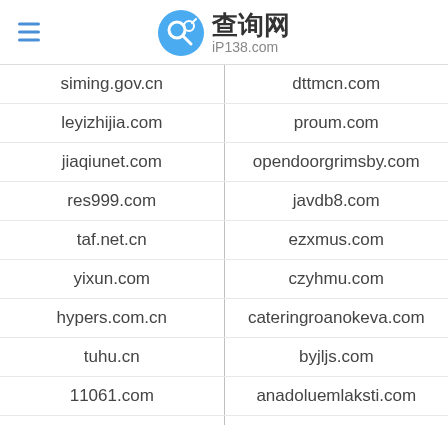查询网 iP138.com
|  |  |
| --- | --- |
| siming.gov.cn | dttmcn.com |
| leyizhijia.com | proum.com |
| jiaqiunet.com | opendoorgrimsby.com |
| res999.com | javdb8.com |
| taf.net.cn | ezxmus.com |
| yixun.com | czyhmu.com |
| hypers.com.cn | cateringroanokeva.com |
| tuhu.cn | byjljs.com |
| 11061.com | anadoluemlaksti.com |
| kan34.cn | 222122a.com |
| naliyin.cn | xtremewargamers.com |
| naliyin.com | wwww.xxxx |
| shenan17.cn | wwwqieziapp66.app |